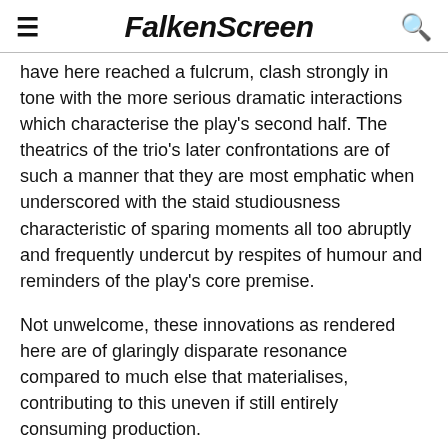FalkenScreen
have here reached a fulcrum, clash strongly in tone with the more serious dramatic interactions which characterise the play's second half. The theatrics of the trio's later confrontations are of such a manner that they are most emphatic when underscored with the staid studiousness characteristic of sparing moments all too abruptly and frequently undercut by respites of humour and reminders of the play's core premise.
Not unwelcome, these innovations as rendered here are of glaringly disparate resonance compared to much else that materialises, contributing to this uneven if still entirely consuming production.
Rating: 3 ½ stars